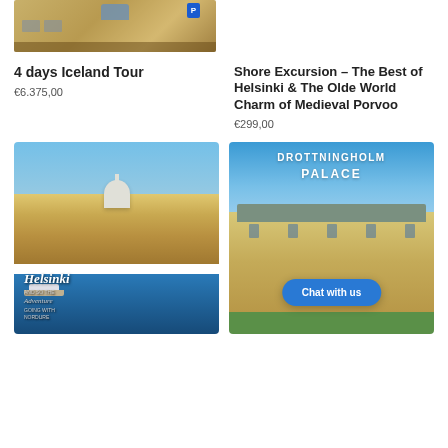[Figure (photo): Partial view of a historic building facade with a blue parking sign]
[Figure (photo): No image shown in top-right area]
4 days Iceland Tour
€6.375,00
Shore Excursion - The Best of Helsinki & The Olde World Charm of Medieval Porvoo
€299,00
[Figure (photo): Helsinki waterfront panorama with cathedral and harbor, overlaid with text: Helsinki and so the Adventure]
[Figure (photo): Drottningholm Palace photo with text overlay reading DROTTNINGHOLM PALACE and a Chat with us button]